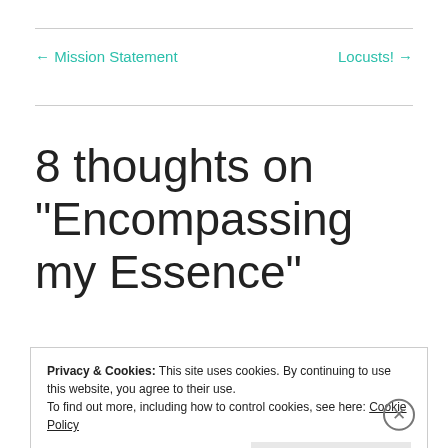← Mission Statement    Locusts! →
8 thoughts on “Encompassing my Essence”
Privacy & Cookies: This site uses cookies. By continuing to use this website, you agree to their use.
To find out more, including how to control cookies, see here: Cookie Policy
Close and accept